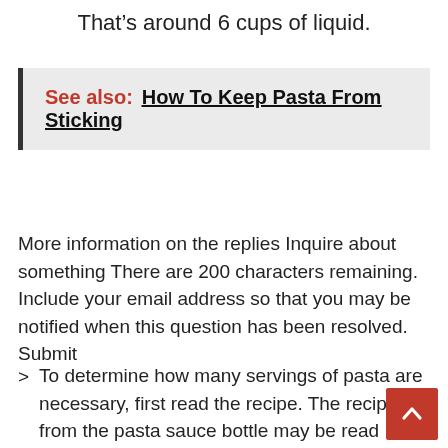That’s around 6 cups of liquid.
See also: How To Keep Pasta From Sticking
More information on the replies Inquire about something There are 200 characters remaining. Include your email address so that you may be notified when this question has been resolved. Submit
To determine how many servings of pasta are necessary, first read the recipe. The recipe from the pasta sauce bottle may be read immediately, or if you are making pasta sauce from